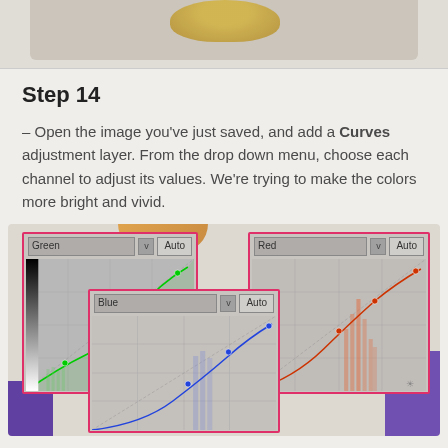[Figure (screenshot): Top portion of a photo showing a blurred yellow object on a light background]
Step 14
– Open the image you've just saved, and add a Curves adjustment layer. From the drop down menu, choose each channel to adjust its values. We're trying to make the colors more bright and vivid.
[Figure (screenshot): Screenshot showing three Curves adjustment panels in an image editing application: Green channel panel, Red channel panel, and Blue channel panel overlapping each other, each with a curve drawn on a grid, set against a colorful background with purple and orange elements.]